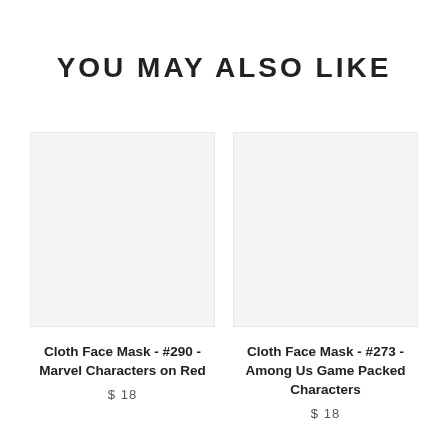YOU MAY ALSO LIKE
[Figure (other): Product image placeholder for Cloth Face Mask #290, light gray background]
Cloth Face Mask - #290 - Marvel Characters on Red
$ 18
[Figure (other): Product image placeholder for Cloth Face Mask #273, light gray background]
Cloth Face Mask - #273 - Among Us Game Packed Characters
$ 18